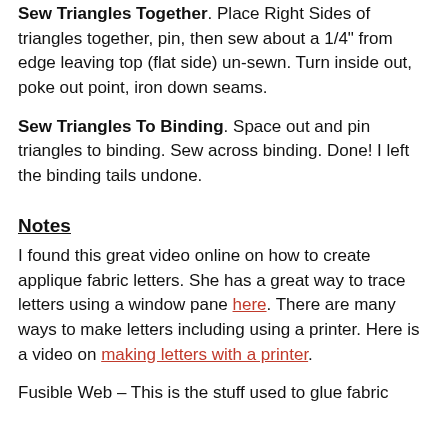Sew Triangles Together. Place Right Sides of triangles together, pin, then sew about a 1/4" from edge leaving top (flat side) un-sewn. Turn inside out, poke out point, iron down seams.
Sew Triangles To Binding. Space out and pin triangles to binding. Sew across binding. Done! I left the binding tails undone.
Notes
I found this great video online on how to create applique fabric letters. She has a great way to trace letters using a window pane here. There are many ways to make letters including using a printer. Here is a video on making letters with a printer.
Fusible Web – This is the stuff used to glue fabric